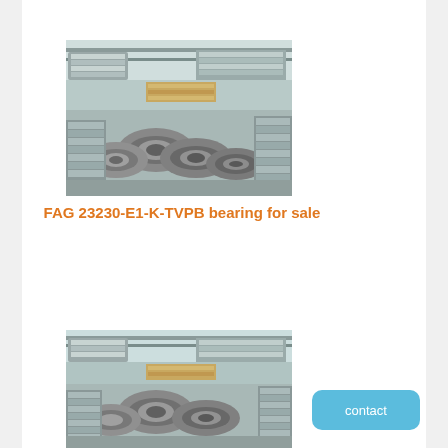[Figure (photo): Warehouse shelves stacked with industrial bearings, various sizes piled on pallets and shelves in a large storage facility]
FAG 23230-E1-K-TVPB bearing for sale
[Figure (photo): Another view of warehouse with industrial bearings stacked on shelves and pallets]
contact